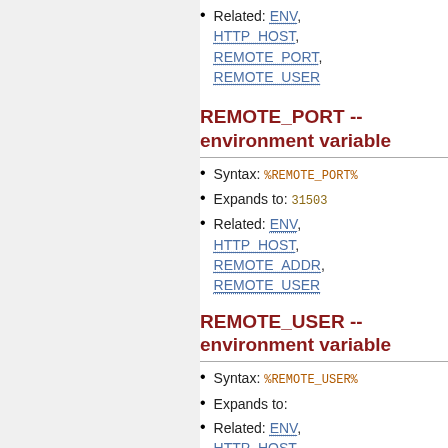Related: ENV, HTTP_HOST, REMOTE_PORT, REMOTE_USER
REMOTE_PORT -- environment variable
Syntax: %REMOTE_PORT%
Expands to: 31503
Related: ENV, HTTP_HOST, REMOTE_ADDR, REMOTE_USER
REMOTE_USER -- environment variable
Syntax: %REMOTE_USER%
Expands to:
Related: ENV, HTTP_HOST